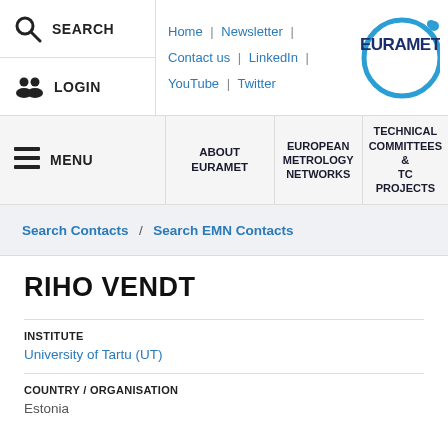SEARCH | LOGIN | Home | Newsletter | Contact us | LinkedIn | YouTube | Twitter | EURAMET
MENU | ABOUT EURAMET | EUROPEAN METROLOGY NETWORKS | TECHNICAL COMMITTEES & TC PROJECTS
Search Contacts / Search EMN Contacts
RIHO VENDT
INSTITUTE
University of Tartu (UT)
COUNTRY / ORGANISATION
Estonia